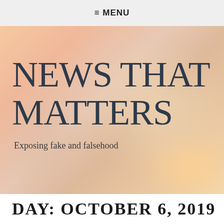≡ MENU
NEWS THAT MATTERS
Exposing fake and falsehood
DAY: OCTOBER 6, 2019